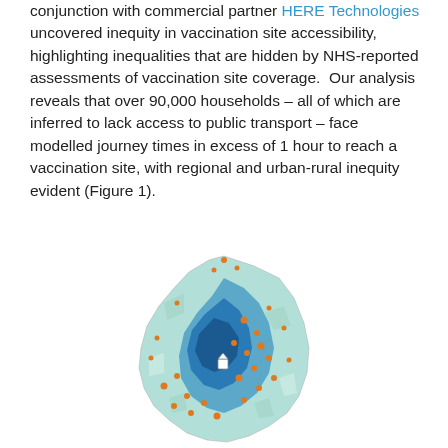conjunction with commercial partner HERE Technologies uncovered inequity in vaccination site accessibility, highlighting inequalities that are hidden by NHS-reported assessments of vaccination site coverage.  Our analysis reveals that over 90,000 households – all of which are inferred to lack access to public transport – face modelled journey times in excess of 1 hour to reach a vaccination site, with regional and urban-rural inequity evident (Figure 1).
[Figure (map): A choropleth map showing vaccination site accessibility in what appears to be a region of England. Areas are shaded in light teal to dark blue indicating journey times, with orange dots scattered across the map indicating locations (likely vaccination sites or households with poor access). A small white marker is visible near the center of the map.]